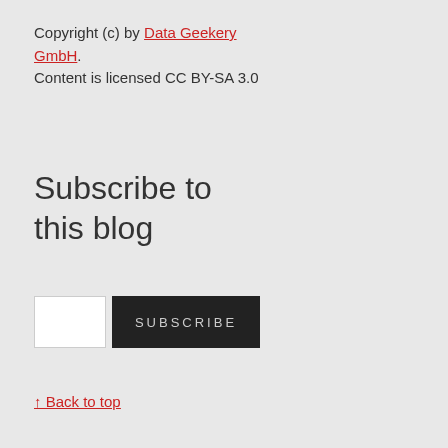Copyright (c) by Data Geekery GmbH. Content is licensed CC BY-SA 3.0
Subscribe to this blog
[Figure (other): Email input field and dark Subscribe button]
↑ Back to top